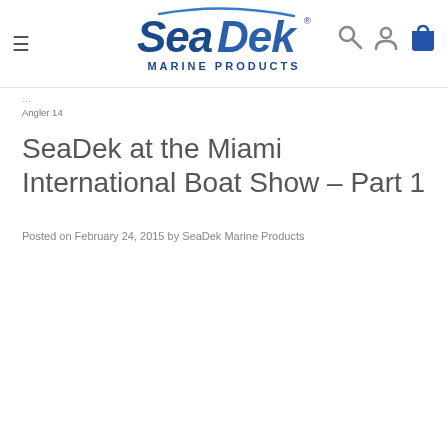SeaDek Marine Products — navigation header with logo, menu, and icons
Angler 14
SeaDek at the Miami International Boat Show – Part 1
Posted on February 24, 2015 by SeaDek Marine Products